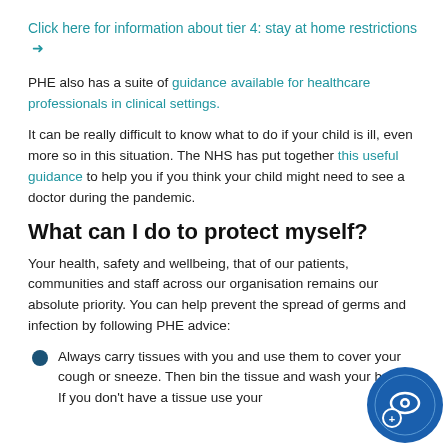Click here for information about tier 4: stay at home restrictions →
PHE also has a suite of guidance available for healthcare professionals in clinical settings.
It can be really difficult to know what to do if your child is ill, even more so in this situation. The NHS has put together this useful guidance to help you if you think your child might need to see a doctor during the pandemic.
What can I do to protect myself?
Your health, safety and wellbeing, that of our patients, communities and staff across our organisation remains our absolute priority. You can help prevent the spread of germs and infection by following PHE advice:
Always carry tissues with you and use them to cover your cough or sneeze. Then bin the tissue and wash your hands. If you don't have a tissue use your